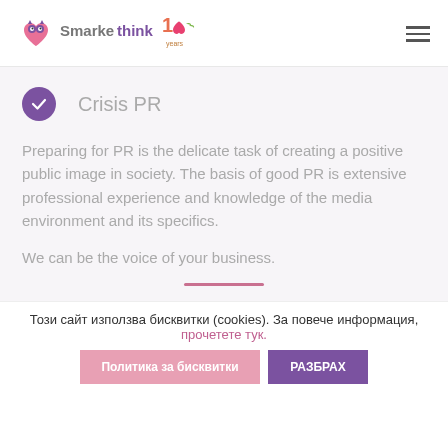[Figure (logo): Smarkethink 10 years logo with owl icon]
Crisis PR
Preparing for PR is the delicate task of creating a positive public image in society. The basis of good PR is extensive professional experience and knowledge of the media environment and its specifics.
We can be the voice of your business.
Този сайт използва бисквитки (cookies). За повече информация, прочетете тук.
Политика за бисквитки
РАЗБРАХ